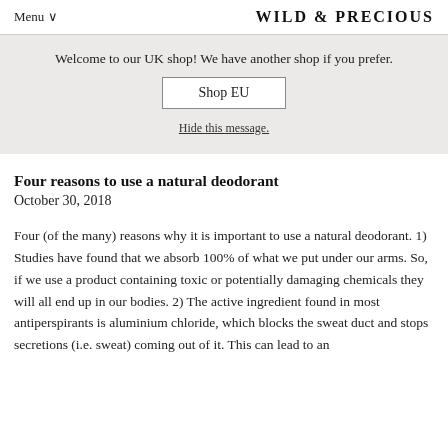Menu ∨   WILD & PRECIOUS
Welcome to our UK shop! We have another shop if you prefer.
Shop EU
Hide this message.
Four reasons to use a natural deodorant
October 30, 2018
Four (of the many) reasons why it is important to use a natural deodorant. 1) Studies have found that we absorb 100% of what we put under our arms. So, if we use a product containing toxic or potentially damaging chemicals they will all end up in our bodies. 2) The active ingredient found in most antiperspirants is aluminium chloride, which blocks the sweat duct and stops secretions (i.e. sweat) coming out of it. This can lead to an